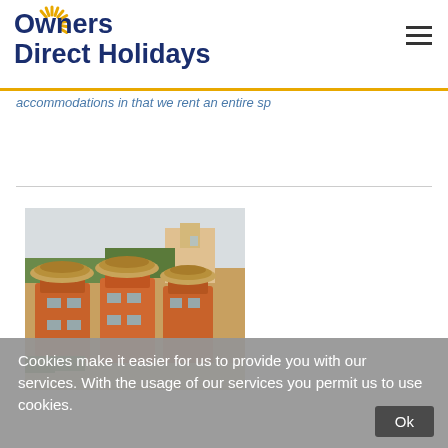Owners Direct Holidays
accommodations in that we rent an entire sp
[Figure (photo): Aerial/elevated view of orange-painted vacation rental buildings with thatched palm roofs surrounded by greenery and other structures]
Cookies make it easier for us to provide you with our services. With the usage of our services you permit us to use cookies.